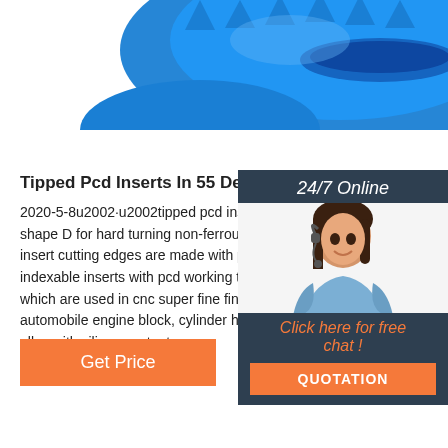[Figure (photo): Blue plastic gear-like component (pcd insert tool) shown from above, cropped at top of page]
Tipped Pcd Inserts In 55 Degree Diamond Shape D
2020-5-8u2002·u2002tipped pcd inserts in 55 degree shape D for hard turning non-ferrous metals of alum insert cutting edges are made with polycrystalline di indexable inserts with pcd working tips are precision which are used in cnc super fine finish machining, tu automobile engine block, cylinder head, gearbox, ca alloy with silicon content ...
[Figure (photo): Customer service widget showing a woman with headset, 24/7 Online header, Click here for free chat text, and QUOTATION button]
Get Price
[Figure (logo): TOP logo with orange dots arranged in triangle above the word TOP in orange]